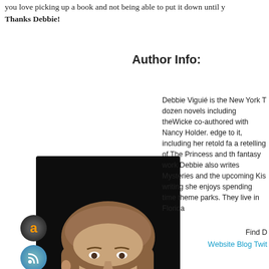you love picking up a book and not being able to put it down until you
Thanks Debbie!
Author Info:
[Figure (photo): Author photo of Debbie Viguié, a woman with long brown hair wearing a black top, smiling against a dark background. Social media icons (Amazon, RSS, Facebook, Goodreads, Email) are overlaid on the left side of the photo.]
Debbie Viguié is the New York T dozen novels including theWicke co-authored with Nancy Holder. edge to it, including her retold fa a retelling of The Princess and th fantasy work Debbie also writes Mysteries and the upcoming Kis writing she enjoys spending time theme parks. They live in Florida
Find D
Website Blog Twit